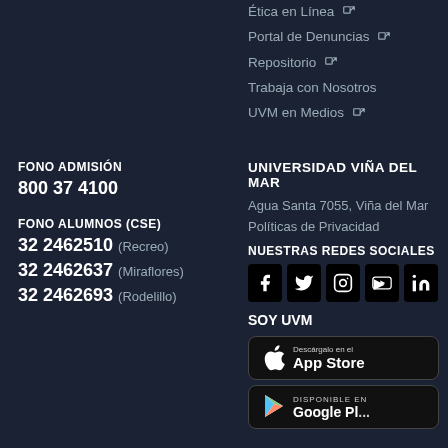Ética en Línea [external link]
Portal de Denuncias [external link]
Repositorio [external link]
Trabaja con Nosotros
UVM en Medios [external link]
FONO ADMISIÓN
800 37 4100
FONO ALUMNOS (CSE)
32 2462510 (Recreo)
32 2462637 (Miraflores)
32 2462693 (Rodelillo)
UNIVERSIDAD VIÑA DEL MAR
Agua Santa 7055, Viña del Mar
Políticas de Privacidad
NUESTRAS REDES SOCIALES
[Figure (infographic): Social media icons: Facebook, Twitter, Instagram, YouTube, LinkedIn]
SOY UVM
[Figure (infographic): App Store download button with Apple logo]
[Figure (infographic): Google Play download button with Play logo - partially visible]